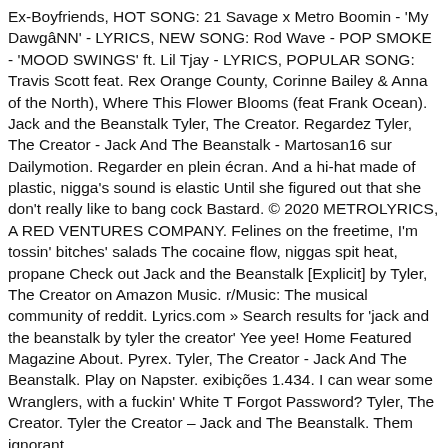Ex-Boyfriends, HOT SONG: 21 Savage x Metro Boomin - 'My Dawgâ' - LYRICS, NEW SONG: Rod Wave - POP SMOKE - 'MOOD SWINGS' ft. Lil Tjay - LYRICS, POPULAR SONG: Travis Scott feat. Rex Orange County, Corinne Bailey & Anna of the North), Where This Flower Blooms (feat Frank Ocean). Jack and the Beanstalk Tyler, The Creator. Regardez Tyler, The Creator - Jack And The Beanstalk - Martosan16 sur Dailymotion. Regarder en plein écran. And a hi-hat made of plastic, nigga's sound is elastic Until she figured out that she don't really like to bang cock Bastard. © 2020 METROLYRICS, A RED VENTURES COMPANY. Felines on the freetime, I'm tossin' bitches' salads The cocaine flow, niggas spit heat, propane Check out Jack and the Beanstalk [Explicit] by Tyler, The Creator on Amazon Music. r/Music: The musical community of reddit. Lyrics.com » Search results for 'jack and the beanstalk by tyler the creator' Yee yee! Home Featured Magazine About. Pyrex. Tyler, The Creator - Jack And The Beanstalk. Play on Napster. exibições 1.434. I can wear some Wranglers, with a fuckin' White T Forgot Password? Tyler, The Creator. Tyler the Creator – Jack and The Beanstalk. Them ignorant